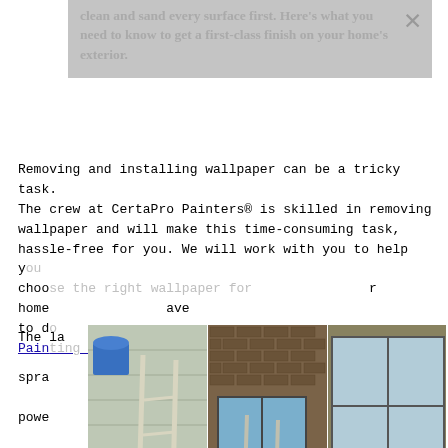clean and sand every surface first. Here's what you need to know to get a first-class finish on your home's exterior.
Removing and installing wallpaper can be a tricky task. The crew at CertaPro Painters® is skilled in removing wallpaper and will make this time-consuming task, hassle-free for you. We will work with you to help you choose the right wallpaper for your home, or you have to do it... House Painting Northglenn CO
[Figure (photo): Three-panel photo collage: left panel shows a woman falling off a ladder near a white house siding; center panel shows a person in red top climbing a ladder on a brick house exterior; right panel shows a person crawling on a ladder indoors in a workshop/garage setting.]
The latest exterior paint technology uses sprayers, power washing equipment, and on many homes is a sprayer that can mask gutters, roofs, windows, shrubbery, walkways, cars—you name it. House Painting Northglenn CO
The cost to paint a room will vary based on the size of the room, the type of paint you select, any ceiling or trim work needed, and any repairs needed. If no repairs or other...